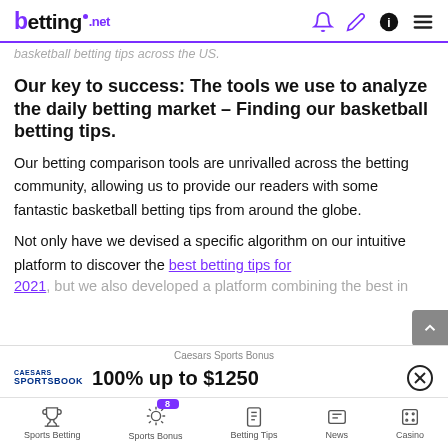betting.net
basketball betting tips across the US.
Our key to success: The tools we use to analyze the daily betting market – Finding our basketball betting tips.
Our betting comparison tools are unrivalled across the betting community, allowing us to provide our readers with some fantastic basketball betting tips from around the globe.
Not only have we devised a specific algorithm on our intuitive platform to discover the best betting tips for 2021, but we also...
Caesars Sports Bonus
100% up to $1250
Sports Betting | Sports Bonus | Betting Tips | News | Casino